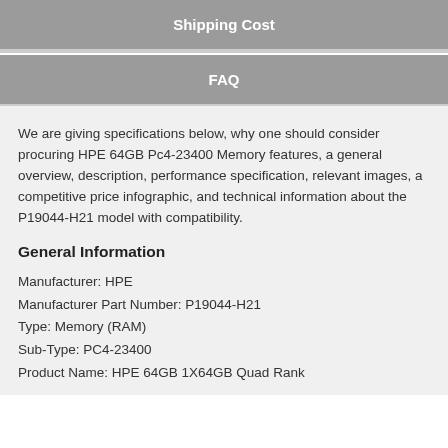Shipping Cost
FAQ
We are giving specifications below, why one should consider procuring HPE 64GB Pc4-23400 Memory features, a general overview, description, performance specification, relevant images, a competitive price infographic, and technical information about the P19044-H21 model with compatibility.
General Information
Manufacturer: HPE
Manufacturer Part Number: P19044-H21
Type: Memory (RAM)
Sub-Type: PC4-23400
Product Name: HPE 64GB 1X64GB Quad Rank